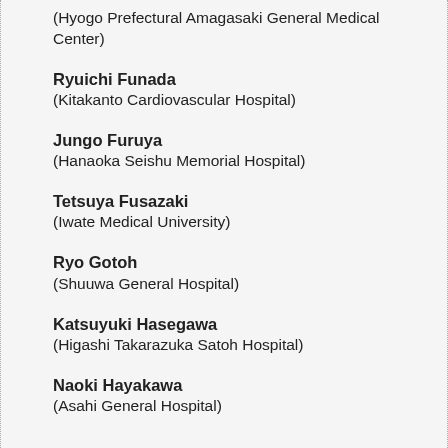(Hyogo Prefectural Amagasaki General Medical Center)
Ryuichi Funada
(Kitakanto Cardiovascular Hospital)
Jungo Furuya
(Hanaoka Seishu Memorial Hospital)
Tetsuya Fusazaki
(Iwate Medical University)
Ryo Gotoh
(Shuuwa General Hospital)
Katsuyuki Hasegawa
(Higashi Takarazuka Satoh Hospital)
Naoki Hayakawa
(Asahi General Hospital)